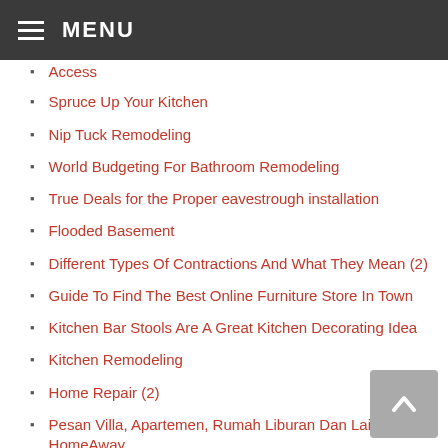MENU
Access
Spruce Up Your Kitchen
Nip Tuck Remodeling
World Budgeting For Bathroom Remodeling
True Deals for the Proper eavestrough installation
Flooded Basement
Different Types Of Contractions And What They Mean (2)
Guide To Find The Best Online Furniture Store In Town
Kitchen Bar Stools Are A Great Kitchen Decorating Idea
Kitchen Remodeling
Home Repair (2)
Pesan Villa, Apartemen, Rumah Liburan Dan Lainnya Di HomeAway